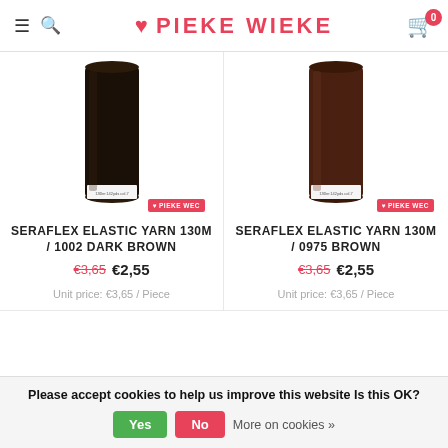PIEKE WIEKE
[Figure (photo): Thread spool of Seraflex Elastic Yarn 130M / 1002 Dark Brown - very dark brown/near-black thread spool with white label]
SERAFLEX ELASTIC YARN 130M / 1002 DARK BROWN
€3,65  €2,55
Unit price: €3,65 / Piece
[Figure (photo): Thread spool of Seraflex Elastic Yarn 130M / 0975 Brown - brown thread spool with white label]
SERAFLEX ELASTIC YARN 130M / 0975 BROWN
€3,65  €2,55
Unit price: €3,65 / Piece
Please accept cookies to help us improve this website Is this OK?  Yes  No  More on cookies »